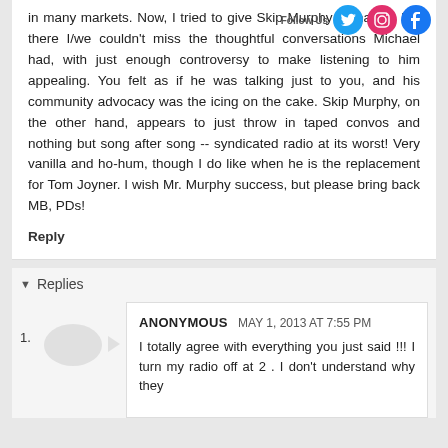in many markets. Now, I tried to give Skip Murphy a chance, but there I/we couldn't miss the thoughtful conversations Michael had, with just enough controversy to make listening to him appealing. You felt as if he was talking just to you, and his community advocacy was the icing on the cake. Skip Murphy, on the other hand, appears to just throw in taped convos and nothing but song after song -- syndicated radio at its worst! Very vanilla and ho-hum, though I do like when he is the replacement for Tom Joyner. I wish Mr. Murphy success, but please bring back MB, PDs!
Reply
Replies
ANONYMOUS MAY 1, 2013 AT 7:55 PM
I totally agree with everything you just said !!! I turn my radio off at 2 . I don't understand why they